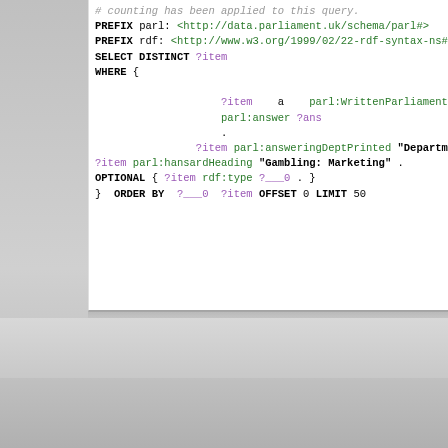# counting has been applied to this query.
PREFIX parl: <http://data.parliament.uk/schema/parl#>
PREFIX rdf: <http://www.w3.org/1999/02/22-rdf-syntax-ns#>
SELECT DISTINCT ?item
WHERE {
    ?item    a    parl:WrittenParliamentaryQuestion ;
             parl:answer ?ans
             .
         ?item parl:answeringDeptPrinted "Department...
?item parl:hansardHeading "Gambling: Marketing" .
OPTIONAL { ?item rdf:type ?___0 . }
}  ORDER BY  ?___0  ?item OFFSET 0 LIMIT 50